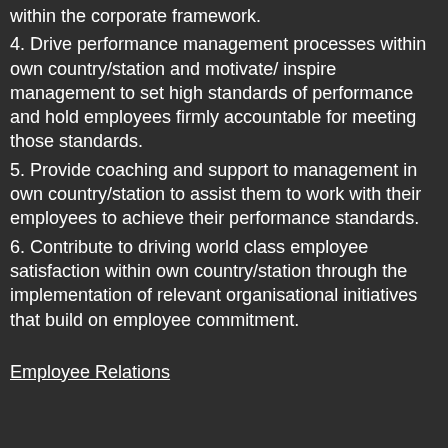within the corporate framework.
4. Drive performance management processes within own country/station and motivate/ inspire management to set high standards of performance and hold employees firmly accountable for meeting those standards.
5. Provide coaching and support to management in own country/station to assist them to work with their employees to achieve their performance standards.
6. Contribute to driving world class employee satisfaction within own country/station through the implementation of relevant organisational initiatives that build on employee commitment.
Employee Relations